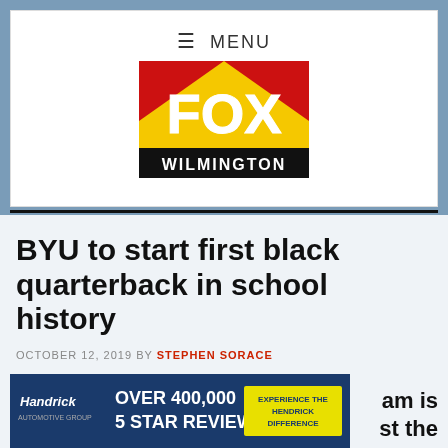≡ MENU
[Figure (logo): Fox Wilmington logo — red and yellow with FOX text and WILMINGTON below on black background]
BYU to start first black quarterback in school history
OCTOBER 12, 2019 BY STEPHEN SORACE
[Figure (other): Hendrick advertisement banner: OVER 400,000 5 STAR REVIEWS — EXPERIENCE THE HENDRICK DIFFERENCE]